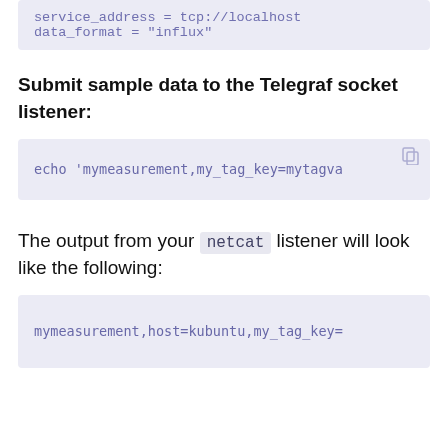service_address = tcp://localhost
    data_format = "influx"
Submit sample data to the Telegraf socket listener:
echo 'mymeasurement,my_tag_key=mytagva
The output from your netcat listener will look like the following:
mymeasurement,host=kubuntu,my_tag_key=